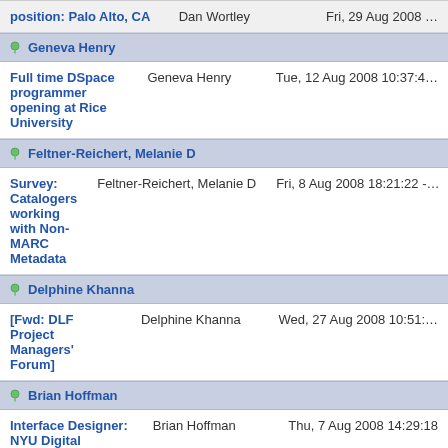| Topic | Author | Date |
| --- | --- | --- |
| Palo Alto, CA | Dan Wortley | Fri, 29 Aug 2008 ... |
| Geneva Henry |  |  |
| Full time DSpace programmer opening at Rice University | Geneva Henry | Tue, 12 Aug 2008 10:37:4... |
| Feltner-Reichert, Melanie D |  |  |
| Survey: Catalogers working with Non-MARC Metadata | Feltner-Reichert, Melanie D | Fri, 8 Aug 2008 18:21:22 -... |
| Delphine Khanna |  |  |
| [Fwd: DLF Project Managers' Forum] | Delphine Khanna | Wed, 27 Aug 2008 10:51:... |
| Brian Hoffman |  |  |
| Interface Designer: NYU Digital Libraries | Brian Hoffman | Thu, 7 Aug 2008 14:29:18 |
| Barrie Howard |  |  |
| DLF Fall Forum reminder for |  |  |